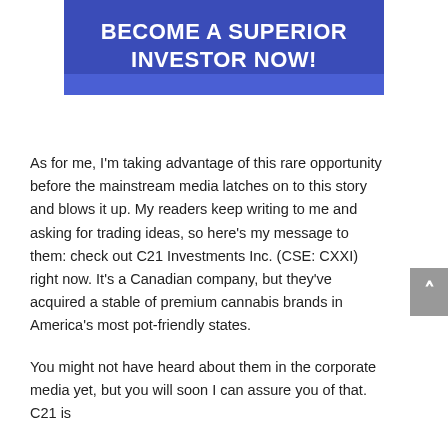BECOME A SUPERIOR INVESTOR NOW!
As for me, I'm taking advantage of this rare opportunity before the mainstream media latches on to this story and blows it up. My readers keep writing to me and asking for trading ideas, so here's my message to them: check out C21 Investments Inc. (CSE: CXXI) right now. It's a Canadian company, but they've acquired a stable of premium cannabis brands in America's most pot-friendly states.
You might not have heard about them in the corporate media yet, but you will soon I can assure you of that. C21 is